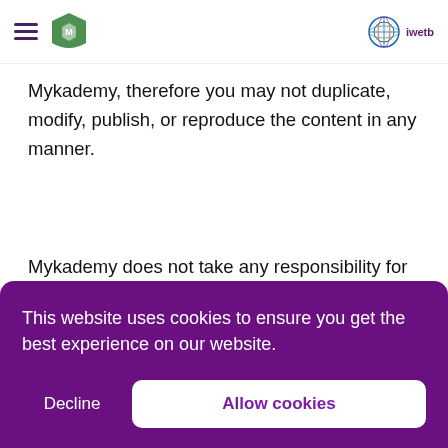Mykademy — hamburger menu and logos
Mykademy, therefore you may not duplicate, modify, publish, or reproduce the content in any manner.
Mykademy does not take any responsibility for the content on other sites (except our partners and affiliates), that you may find when searching or accessing Mykademy products or services. The
This website uses cookies to ensure you get the best experience on our website.
Decline | Allow cookies